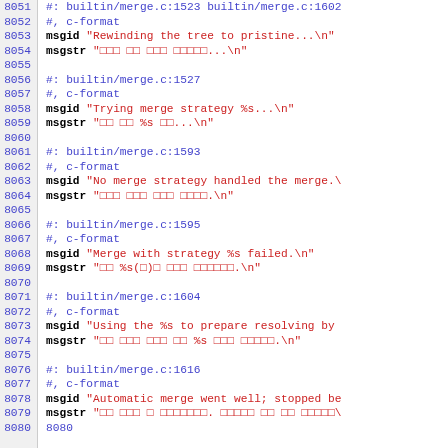Source code / localization file (PO file) showing message IDs and translations, lines 8051–8080
8051  #: builtin/merge.c:1523 builtin/merge.c:1602
8052  #, c-format
8053  msgid "Rewinding the tree to pristine...\n"
8054  msgstr "□□□ □□ □□□ □□□□□...\n"
8055  
8056  #: builtin/merge.c:1527
8057  #, c-format
8058  msgid "Trying merge strategy %s...\n"
8059  msgstr "□□ □□ %s □□...\n"
8060  
8061  #: builtin/merge.c:1593
8062  #, c-format
8063  msgid "No merge strategy handled the merge.\n"
8064  msgstr "□□□ □□□ □□□ □□□□.\n"
8065  
8066  #: builtin/merge.c:1595
8067  #, c-format
8068  msgid "Merge with strategy %s failed.\n"
8069  msgstr "□□ %s(□)□ □□□ □□□□□□.\n"
8070  
8071  #: builtin/merge.c:1604
8072  #, c-format
8073  msgid "Using the %s to prepare resolving by..."
8074  msgstr "□□ □□□ □□□ □□ %s □□□ □□□□□.\n"
8075  
8076  #: builtin/merge.c:1616
8077  #, c-format
8078  msgid "Automatic merge went well; stopped be..."
8079  msgstr "□□ □□□ □ □□□□□□□. □□□□□ □□ □□ □□□□□\n"
8080